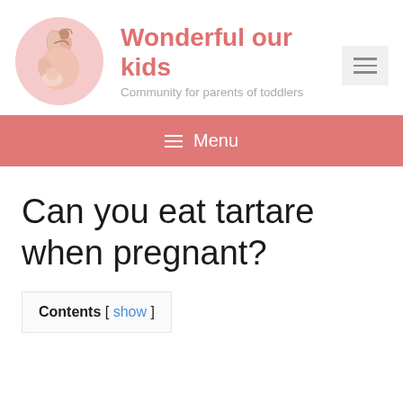[Figure (logo): Circular logo showing a mother breastfeeding a baby, drawn in pink/salmon tones]
Wonderful our kids
Community for parents of toddlers
[Figure (other): Hamburger menu button (three horizontal lines) on light grey background]
≡ Menu
Can you eat tartare when pregnant?
Contents [ show ]